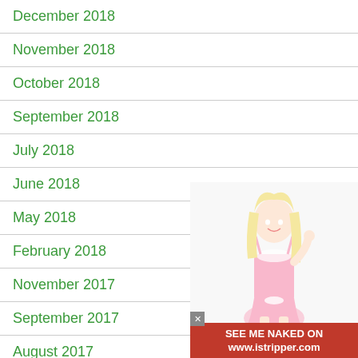December 2018
November 2018
October 2018
September 2018
July 2018
June 2018
May 2018
February 2018
November 2017
September 2017
August 2017
June 2017
May 2017
[Figure (photo): Advertisement overlay with a blonde woman in pink lingerie and text SEE ME NAKED ON www.istripper.com]